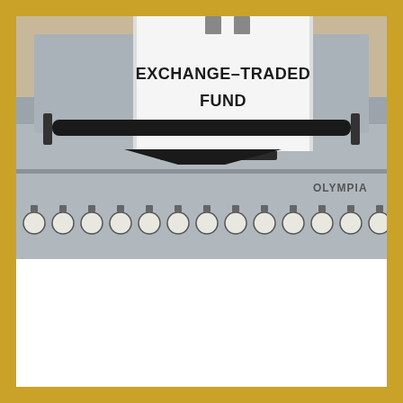[Figure (photo): A photograph of a vintage typewriter with a white sheet of paper inserted, displaying the bold text 'EXCHANGE-TRADED FUND' typed on it. The typewriter is light gray in color with black keys and mechanical parts visible.]
Best ETF Stocks
English